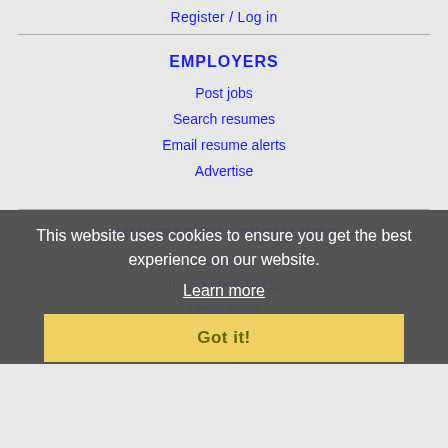Register / Log in
EMPLOYERS
Post jobs
Search resumes
Email resume alerts
Advertise
IMMIGRATION SPECIALISTS
Post jobs
Immigration FAQs
Learn more
MORE
FAQ
This website uses cookies to ensure you get the best experience on our website.
Learn more
Got it!